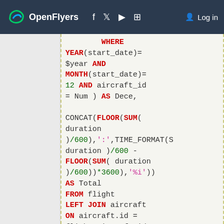OpenFlyers | Log in
SQL code block with WHERE, YEAR, MONTH, AND, AS, CONCAT, FLOOR, SUM, TIME_FORMAT, FROM, LEFT JOIN, ON, WHERE clauses